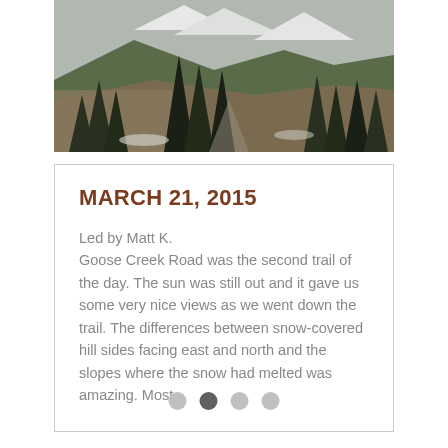[Figure (photo): A landscape photo showing pine trees and snow-capped mountains in the background, taken along a trail.]
MARCH 21, 2015
Led by Matt K.
Goose Creek Road was the second trail of the day. The sun was still out and it gave us some very nice views as we went down the trail. The differences between snow-covered hill sides facing east and north and the slopes where the snow had melted was amazing. Most...